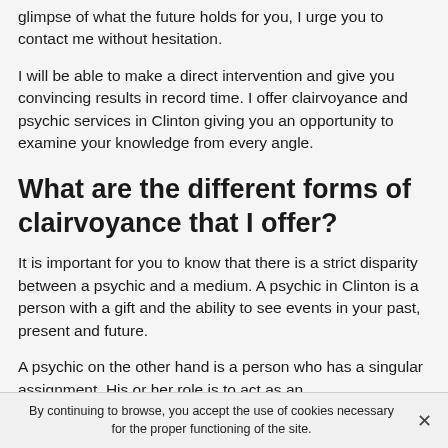glimpse of what the future holds for you, I urge you to contact me without hesitation.
I will be able to make a direct intervention and give you convincing results in record time. I offer clairvoyance and psychic services in Clinton giving you an opportunity to examine your knowledge from every angle.
What are the different forms of clairvoyance that I offer?
It is important for you to know that there is a strict disparity between a psychic and a medium. A psychic in Clinton is a person with a gift and the ability to see events in your past, present and future.
A psychic on the other hand is a person who has a singular assignment. His or her role is to act as an
By continuing to browse, you accept the use of cookies necessary for the proper functioning of the site.